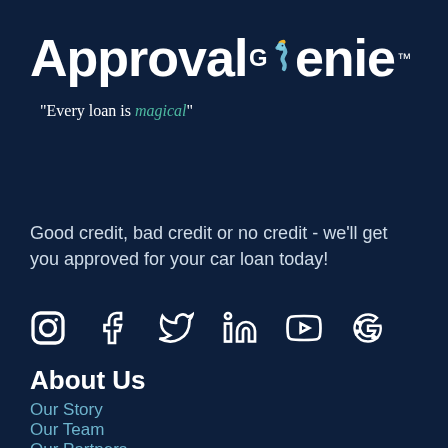[Figure (logo): Approval Genie logo with genie character and tagline 'Every loan is magical']
Good credit, bad credit or no credit - we'll get you approved for your car loan today!
[Figure (infographic): Social media icons: Instagram, Facebook, Twitter, LinkedIn, YouTube, Google]
About Us
Our Story
Our Team
Our Partners